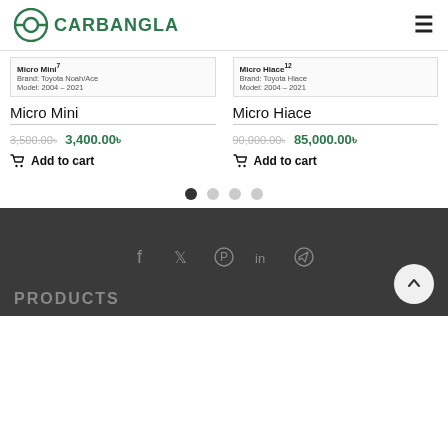CARBANGLA
Micro Mini 7 Brand: Toyota Noah/Ace Model: 2004-2021
Micro Hiace 12 Brand: Toyota Hiace Model: 2004-2021
Micro Mini
3,500.00৳  3,400.00৳
Add to cart
Micro Hiace
90,000.00৳  85,000.00৳
Add to cart
[Figure (other): Carousel pagination dots — 4 dots, first one filled/active]
[Figure (other): Footer with social media icons (Facebook, Twitter, Pinterest, LinkedIn, Telegram) and back-to-top button]
PRODUCTS